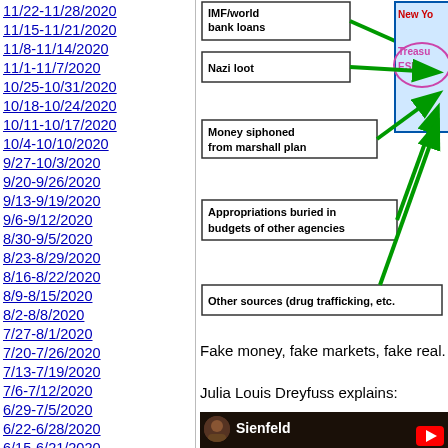11/22-11/28/2020
11/15-11/21/2020
11/8-11/14/2020
11/1-11/7/2020
10/25-10/31/2020
10/18-10/24/2020
10/11-10/17/2020
10/4-10/10/2020
9/27-10/3/2020
9/20-9/26/2020
9/13-9/19/2020
9/6-9/12/2020
8/30-9/5/2020
8/23-8/29/2020
8/16-8/22/2020
8/9-8/15/2020
8/2-8/8/2020
7/27-8/1/2020
7/20-7/26/2020
7/13-7/19/2020
7/6-7/12/2020
6/29-7/5/2020
6/22-6/28/2020
6/15-6/21/2020
6/8-6/14/2020
[Figure (flowchart): Diagram showing money flows from various sources (IMF/world bank loans, Nazi loot, Money siphoned from marshall plan, Appropriations buried in budgets of other agencies, Other sources (drug trafficking, etc.)) flowing via green arrows to New York Fed Treasury ESF (partially visible)]
Fake money, fake markets, fake real.
Julia Louis Dreyfuss explains:
[Figure (screenshot): YouTube video thumbnail showing Sienfeld channel with a dark scene from the show, red YouTube play button in bottom right]